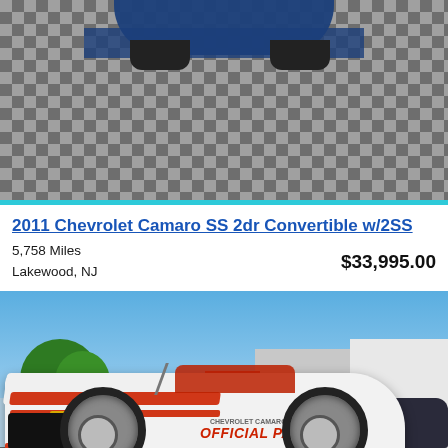[Figure (photo): Top portion showing a partial view of a car on a checkered floor/background in dark and light gray squares]
2011 Chevrolet Camaro SS 2dr Convertible w/2SS
5,758 Miles
Lakewood, NJ
$33,995.00
[Figure (photo): Photo of a white 2011 Chevrolet Camaro SS convertible with red racing stripes and 'Official Pace Car' decal, parked outdoors on a sunny day]